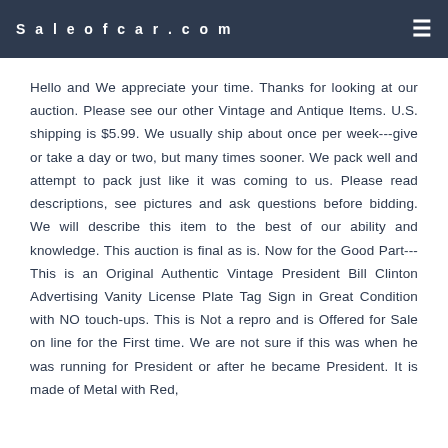Saleofcar.com
Hello and We appreciate your time. Thanks for looking at our auction. Please see our other Vintage and Antique Items. U.S. shipping is $5.99. We usually ship about once per week---give or take a day or two, but many times sooner. We pack well and attempt to pack just like it was coming to us. Please read descriptions, see pictures and ask questions before bidding. We will describe this item to the best of our ability and knowledge. This auction is final as is. Now for the Good Part---This is an Original Authentic Vintage President Bill Clinton Advertising Vanity License Plate Tag Sign in Great Condition with NO touch-ups. This is Not a repro and is Offered for Sale on line for the First time. We are not sure if this was when he was running for President or after he became President. It is made of Metal with Red,